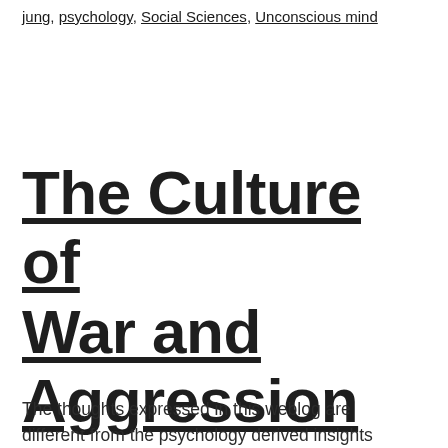jung, psychology, Social Sciences, Unconscious mind
The Culture of War and Aggression
The thoughts expressed in this weblog are different from the psychology derived insights